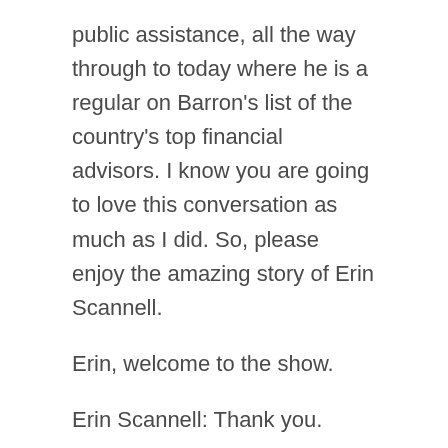public assistance, all the way through to today where he is a regular on Barron's list of the country's top financial advisors. I know you are going to love this conversation as much as I did. So, please enjoy the amazing story of Erin Scannell.
Erin, welcome to the show.
Erin Scannell: Thank you.
Steve Sanduski: Well, let's start with where you are today. So, if you could just share, what does your business look like today in terms of employees, markets, and clients?